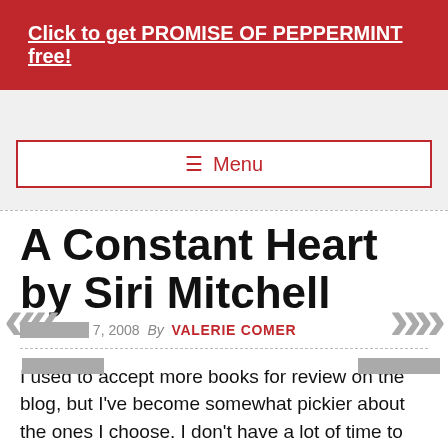Click to get PROMISE OF PEPPERMINT free!
Menu
A Constant Heart by Siri Mitchell
OCTOBER 7, 2008  By  VALERIE COMER
I used to accept more books for review on the blog, but I've become somewhat pickier about the ones I choose. I don't have a lot of time to read–sadly, when it seems I could get a free book every week or so, should I want them. Most content seems to be what it needs to be